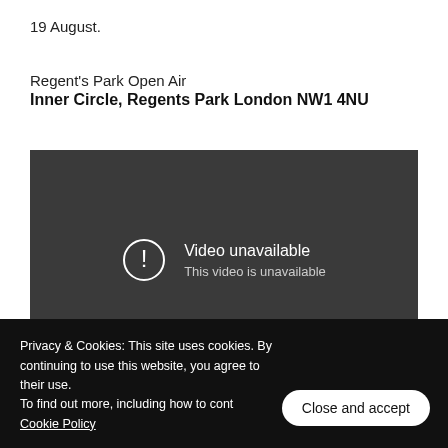19 August.
Regent's Park Open Air
Inner Circle, Regents Park London NW1 4NU
[Figure (screenshot): Embedded video player showing 'Video unavailable - This video is unavailable' error message on a dark grey background]
Privacy & Cookies: This site uses cookies. By continuing to use this website, you agree to their use.
To find out more, including how to cont
Cookie Policy
Close and accept
open air theatre costs a cloak of magic over